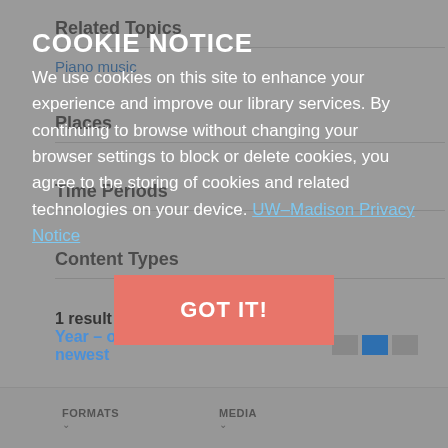Related Topics
Piano music
Places
Time Periods
Content Types
1 result sorted by
Year – oldest to newest
FORMATS
MEDIA
COOKIE NOTICE
We use cookies on this site to enhance your experience and improve our library services. By continuing to browse without changing your browser settings to block or delete cookies, you agree to the storing of cookies and related technologies on your device. UW–Madison Privacy Notice
GOT IT!